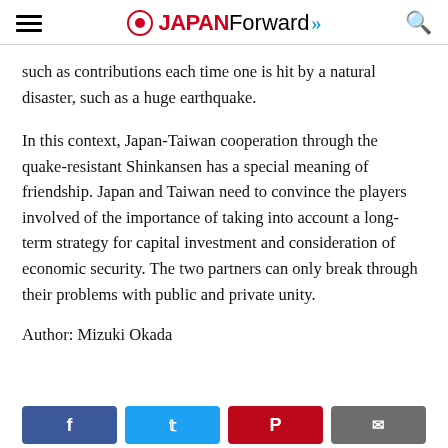JAPAN Forward
such as contributions each time one is hit by a natural disaster, such as a huge earthquake.
In this context, Japan-Taiwan cooperation through the quake-resistant Shinkansen has a special meaning of friendship. Japan and Taiwan need to convince the players involved of the importance of taking into account a long-term strategy for capital investment and consideration of economic security. The two partners can only break through their problems with public and private unity.
Author: Mizuki Okada